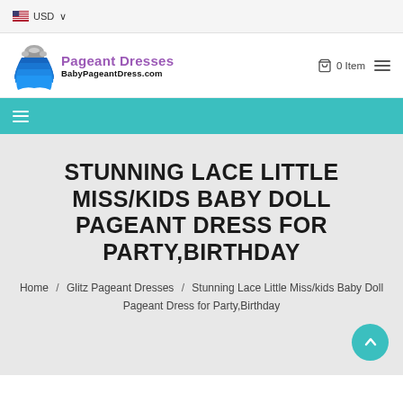USD
[Figure (logo): BabyPageantDress.com logo with blue ruffled dress illustration, purple 'Pageant Dresses' text, and black 'BabyPageantDress.com' text]
0 Item
STUNNING LACE LITTLE MISS/KIDS BABY DOLL PAGEANT DRESS FOR PARTY,BIRTHDAY
Home / Glitz Pageant Dresses / Stunning Lace Little Miss/kids Baby Doll Pageant Dress for Party,Birthday